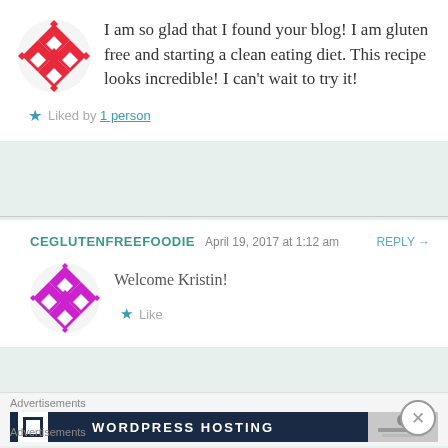I am so glad that I found your blog! I am gluten free and starting a clean eating diet. This recipe looks incredible! I can't wait to try it!
★ Liked by 1 person
CEGLUTENFREEFOODIE  April 19, 2017 at 1:12 am  REPLY →
Welcome Kristin!
★ Like
Advertisements
WORDPRESS HOSTING
Advertisements